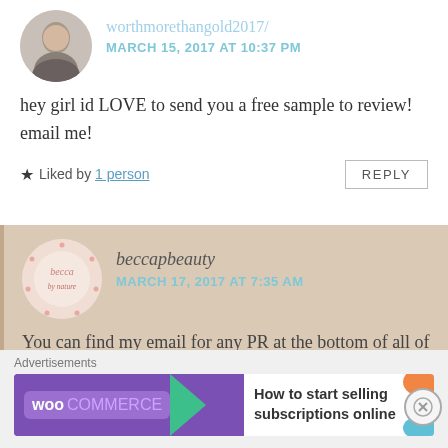worthmorethangold2017/
MARCH 15, 2017 AT 10:37 PM
hey girl id LOVE to send you a free sample to review! email me!
★ Liked by 1 person
REPLY
beccapbeauty
MARCH 17, 2017 AT 7:35 AM
You can find my email for any PR at the bottom of all of my blog posts x
[Figure (infographic): WooCommerce advertisement banner: purple background with WooCommerce logo and arrow, white section with text 'How to start selling subscriptions online' and decorative colored shapes]
Advertisements